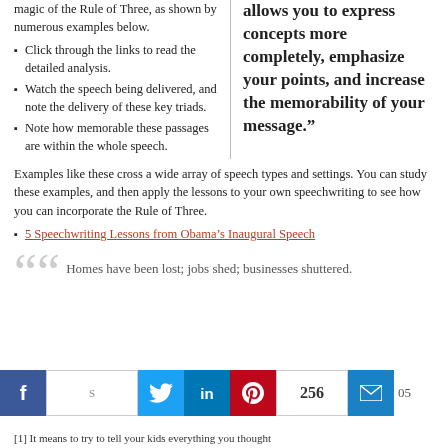magic of the Rule of Three, as shown by numerous examples below.
Click through the links to read the detailed analysis.
Watch the speech being delivered, and note the delivery of these key triads.
Note how memorable these passages are within the whole speech.
allows you to express concepts more completely, emphasize your points, and increase the memorability of your message.”
Examples like these cross a wide array of speech types and settings. You can study these examples, and then apply the lessons to your own speechwriting to see how you can incorporate the Rule of Three.
5 Speechwriting Lessons from Obama’s Inaugural Speech
Homes have been lost; jobs shed; businesses shuttered.
256  05
[1] It means to try to tell your kids everything you thought